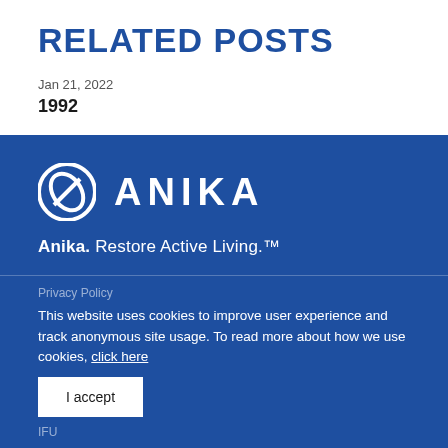RELATED POSTS
Jan 21, 2022
1992
[Figure (logo): Anika Therapeutics logo: circular icon with stylized letter A and tagline 'Anika. Restore Active Living.™']
Privacy Policy
This website uses cookies to improve user experience and track anonymous site usage. To read more about how we use cookies, click here
I accept
IFU